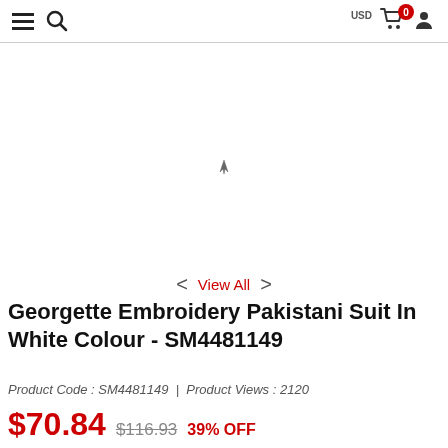Navigation bar with hamburger menu, search icon, USD currency selector, cart (0 items), and user icon
[Figure (photo): Product image area for Georgette Embroidery Pakistani Suit in White Colour, mostly white/blank with a small cursor mark visible]
< View All >
Georgette Embroidery Pakistani Suit In White Colour - SM4481149
Product Code : SM4481149  |  Product Views : 2120
$70.84  $116.93  39% OFF